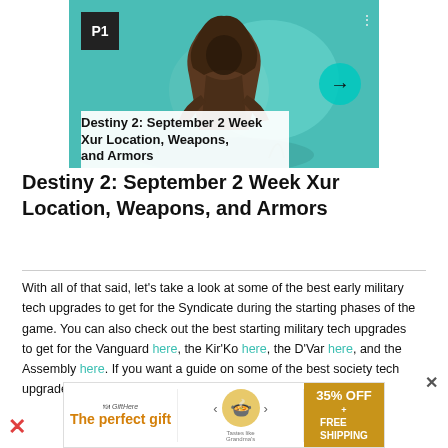[Figure (screenshot): Screenshot of a game article card showing a cloaked character on teal background. Has P1 badge top-left, three-dot menu top-right, arrow button right side, and article title overlay at bottom.]
Destiny 2: September 2 Week Xur Location, Weapons, and Armors
With all of that said, let's take a look at some of the best early military tech upgrades to get for the Syndicate during the starting phases of the game. You can also check out the best starting military tech upgrades to get for the Vanguard here, the Kir'Ko here, the D'Var here, and the Assembly here. If you want a guide on some of the best society tech upgrades for starters,
[Figure (infographic): Advertisement banner: 'The perfect gift' with food bowl image, navigation arrows, and '35% OFF + FREE SHIPPING' offer on gold background.]